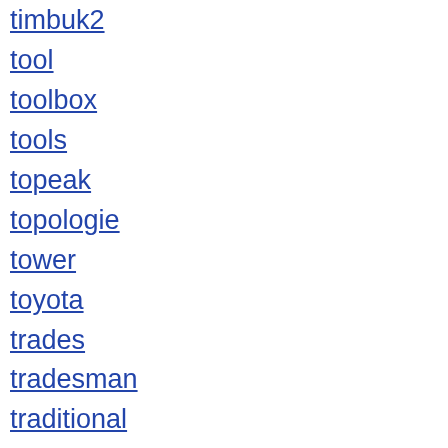timbuk2
tool
toolbox
tools
topeak
topologie
tower
toyota
trades
tradesman
traditional
transitional
trash
travel
trina
troubadour
tube